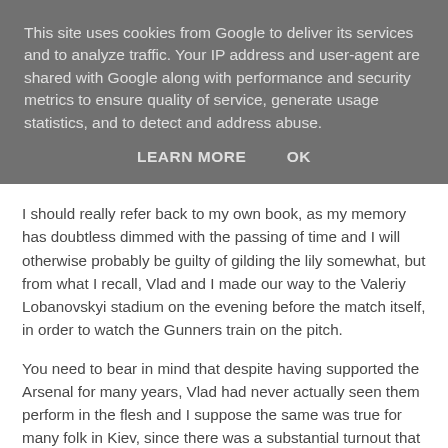This site uses cookies from Google to deliver its services and to analyze traffic. Your IP address and user-agent are shared with Google along with performance and security metrics to ensure quality of service, generate usage statistics, and to detect and address abuse.
LEARN MORE   OK
I should really refer back to my own book, as my memory has doubtless dimmed with the passing of time and I will otherwise probably be guilty of gilding the lily somewhat, but from what I recall, Vlad and I made our way to the Valeriy Lobanovskyi stadium on the evening before the match itself, in order to watch the Gunners train on the pitch.
You need to bear in mind that despite having supported the Arsenal for many years, Vlad had never actually seen them perform in the flesh and I suppose the same was true for many folk in Kiev, since there was a substantial turnout that night. However with me having the excuse of my weekly column in the Irish Examiner, I was determined to blag my